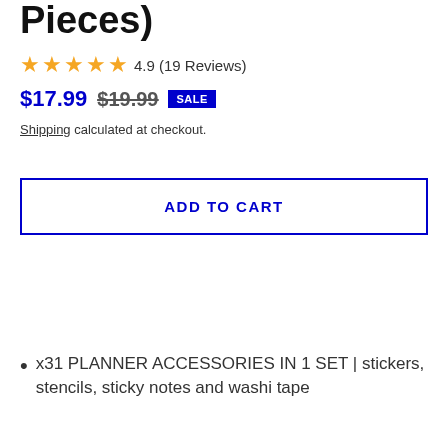Pieces)
4.9 (19 Reviews)
$17.99  $19.99  SALE
Shipping calculated at checkout.
ADD TO CART
x31 PLANNER ACCESSORIES IN 1 SET | stickers, stencils, sticky notes and washi tape